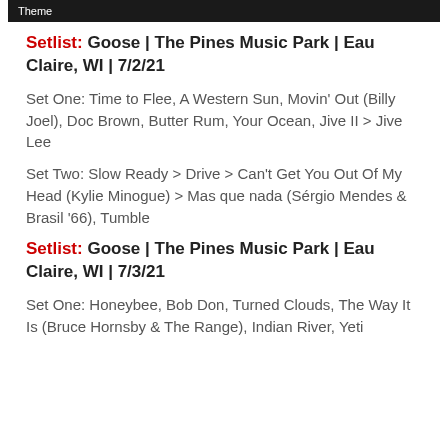Theme
Setlist: Goose | The Pines Music Park | Eau Claire, WI | 7/2/21
Set One: Time to Flee, A Western Sun, Movin' Out (Billy Joel), Doc Brown, Butter Rum, Your Ocean, Jive II > Jive Lee
Set Two: Slow Ready > Drive > Can't Get You Out Of My Head (Kylie Minogue) > Mas que nada (Sérgio Mendes & Brasil '66), Tumble
Setlist: Goose | The Pines Music Park | Eau Claire, WI | 7/3/21
Set One: Honeybee, Bob Don, Turned Clouds, The Way It Is (Bruce Hornsby & The Range), Indian River, Yeti